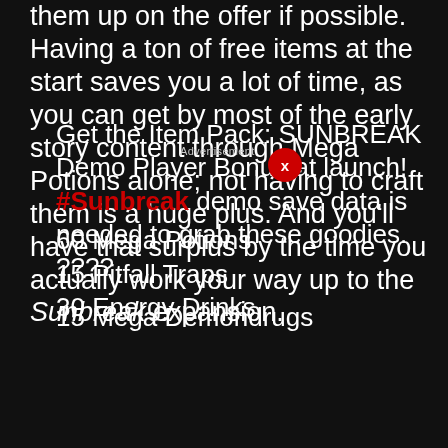them up on the offer if possible. Having a ton of free items at the start saves you a lot of time, as you can get by most of the early story content through Mega Potions alone; not having to craft them is a huge plus. And you'll have that surplus by the time you actually work your way up to the Sunbreak expansion.
Get the Item Pack: SUNBREAK Demo Player Bonus at launch! #Sunbreak demo save data is needed to grab these goodies. ????
60 Mega Potions
15 Pitfall Traps
30 Energy Drinks
15 Mega Demondrugs